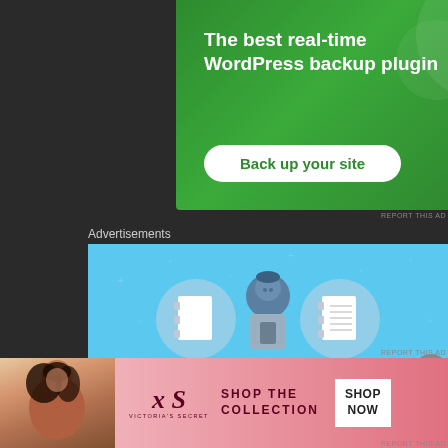[Figure (screenshot): Green advertisement banner for WordPress backup plugin with headline 'The best real-time WordPress backup plugin' and a white rounded button 'Back up your site']
REPORT THIS AD
Advertisements
[Figure (screenshot): Blue advertisement for Day One app showing a person looking at phone with notebook icons, text 'DAY ONE' at bottom]
[Figure (screenshot): Victoria's Secret advertisement showing a woman, VS logo, 'SHOP THE COLLECTION' text and 'SHOP NOW' button]
REPORT THIS AD